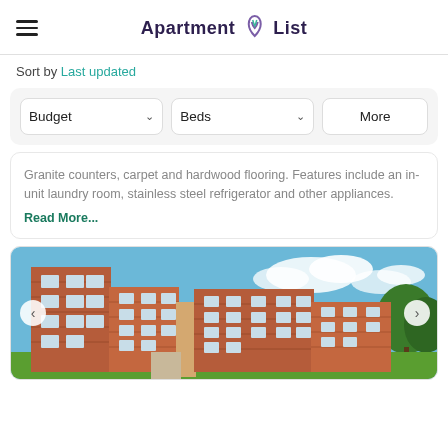Apartment List
Sort by Last updated
Budget  Beds  More
Granite counters, carpet and hardwood flooring. Features include an in-unit laundry room, stainless steel refrigerator and other appliances.
Read More...
[Figure (photo): Exterior photo of a brick apartment building complex with green shrubs, blue sky and trees in background, with carousel navigation arrows]